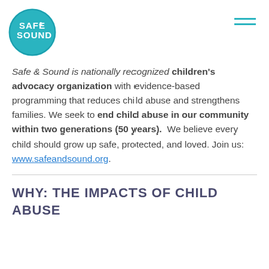[Figure (logo): Safe & Sound circular logo with teal border and white text reading SAFE & SOUND]
Safe & Sound is nationally recognized children's advocacy organization with evidence-based programming that reduces child abuse and strengthens families. We seek to end child abuse in our community within two generations (50 years). We believe every child should grow up safe, protected, and loved. Join us: www.safeandsound.org.
WHY: THE IMPACTS OF CHILD ABUSE